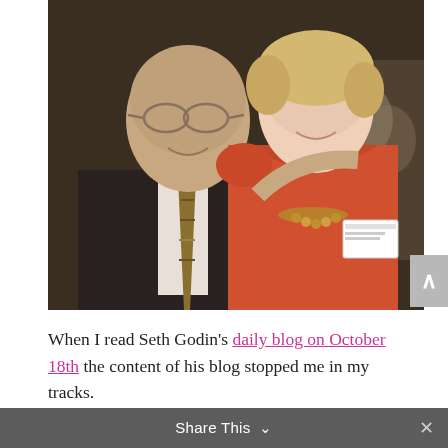[Figure (photo): A bald man wearing glasses, a dark suit, and a striped tie smiling next to a woman with short blonde hair wearing a red/orange dress with a beaded necklace and a name tag, at what appears to be an indoor event.]
When I read Seth Godin's daily blog on October 18th the content of his blog stopped me in my tracks.
Share This ∨  ×